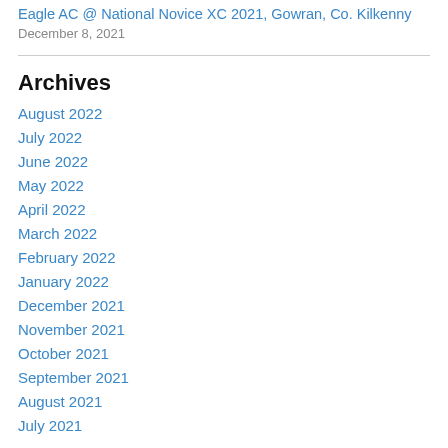Eagle AC @ National Novice XC 2021, Gowran, Co. Kilkenny
December 8, 2021
Archives
August 2022
July 2022
June 2022
May 2022
April 2022
March 2022
February 2022
January 2022
December 2021
November 2021
October 2021
September 2021
August 2021
July 2021